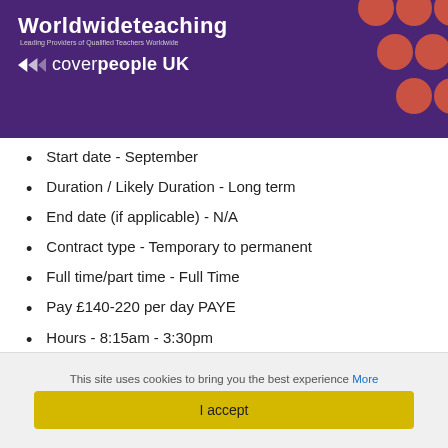[Figure (logo): Worldwide Teaching and coverpeople UK logo on purple header background with decorative orange/red dots in top right corner]
Start date - September
Duration / Likely Duration - Long term
End date (if applicable) - N/A
Contract type - Temporary to permanent
Full time/part time - Full Time
Pay £140-220 per day PAYE
Hours - 8:15am - 3:30pm
EXPERIENCE, TRAINING AND QUALIFICATIONS
QTS, QTLS, PGCE, EYTS or equivalent
Previous experience working in a UK school
Up to date Safeguarding training issued in
This site uses cookies to bring you the best experience More
I accept